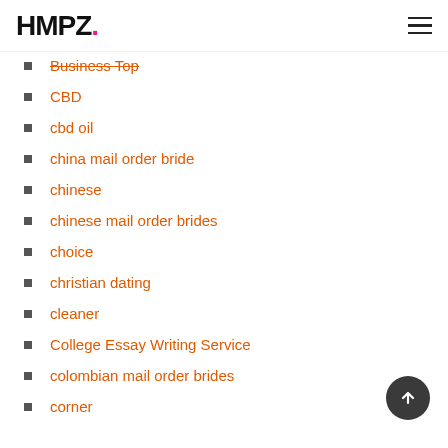HMPZ.
Business Top
CBD
cbd oil
china mail order bride
chinese
chinese mail order brides
choice
christian dating
cleaner
College Essay Writing Service
colombian mail order brides
corner